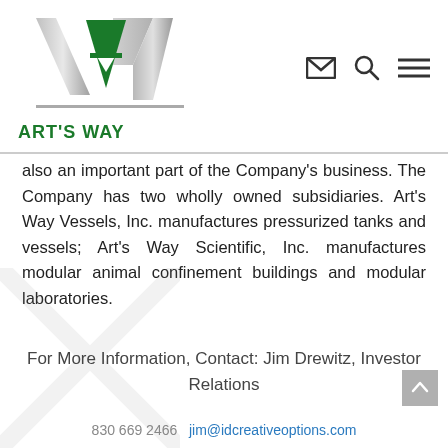[Figure (logo): Art's Way company logo with stylized AW letters in silver and green, with text ART'S WAY below]
also an important part of the Company's business. The Company has two wholly owned subsidiaries. Art's Way Vessels, Inc. manufactures pressurized tanks and vessels; Art's Way Scientific, Inc. manufactures modular animal confinement buildings and modular laboratories.
For More Information, Contact: Jim Drewitz, Investor Relations
830 669 2466  jim@idcreativeoptions.com